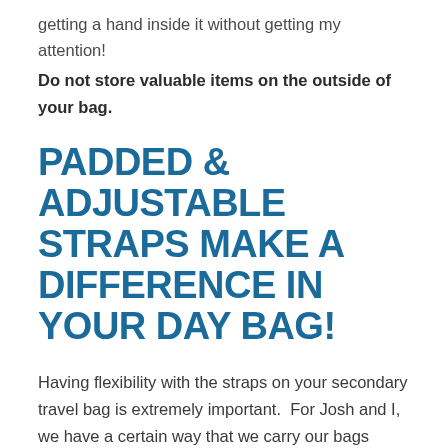getting a hand inside it without getting my attention! Do not store valuable items on the outside of your bag.
PADDED & ADJUSTABLE STRAPS MAKE A DIFFERENCE IN YOUR DAY BAG!
Having flexibility with the straps on your secondary travel bag is extremely important.  For Josh and I, we have a certain way that we carry our bags while we are on the road and another way we carry them when